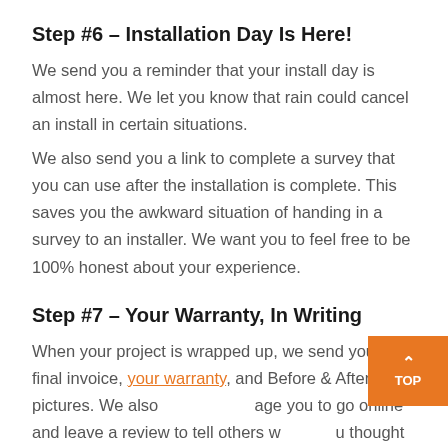Step #6 – Installation Day Is Here!
We send you a reminder that your install day is almost here. We let you know that rain could cancel an install in certain situations.
We also send you a link to complete a survey that you can use after the installation is complete. This saves you the awkward situation of handing in a survey to an installer. We want you to feel free to be 100% honest about your experience.
Step #7 – Your Warranty, In Writing
When your project is wrapped up, we send you a final invoice, your warranty, and Before & After pictures. We also encourage you to go online and leave a review to tell others what you thought of Today's Entry Doors.